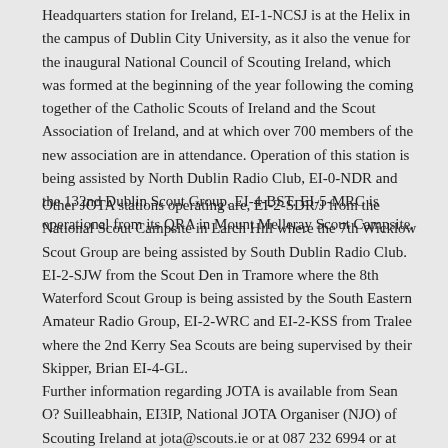Headquarters station for Ireland, EI-1-NCSJ is at the Helix in the campus of Dublin City University, as it also the venue for the inaugural National Council of Scouting Ireland, which was formed at the beginning of the year following the coming together of the Catholic Scouts of Ireland and the Scout Association of Ireland, and at which over 700 members of the new association are in attendance. Operation of this station is being assisted by North Dublin Radio Club, EI-0-NDR and the 132nd Dublin Scout Group, EI-4-BST. EI-5-MRC is operational from its QRA in Mount Melleray Scout Campsite.
Other JOTA stations operating are, EI-2-SDR/J from the National Scout Campsite in Larch Hill where the 7th Wicklow Scout Group are being assisted by South Dublin Radio Club. EI-2-SJW from the Scout Den in Tramore where the 8th Waterford Scout Group is being assisted by the South Eastern Amateur Radio Group, EI-2-WRC and EI-2-KSS from Tralee where the 2nd Kerry Sea Scouts are being supervised by their Skipper, Brian EI-4-GL.
Further information regarding JOTA is available from Sean O? Suilleabhain, EI3IP, National JOTA Organiser (NJO) of Scouting Ireland at jota@scouts.ie or at 087 232 6994 or at